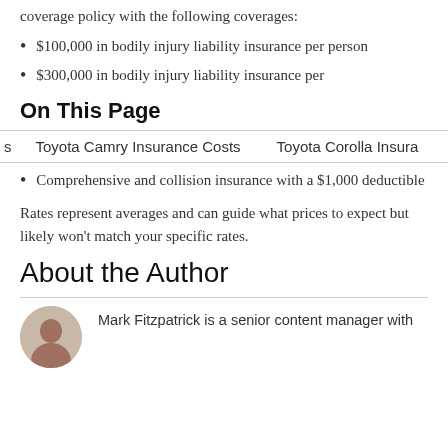coverage policy with the following coverages:
$100,000 in bodily injury liability insurance per person
$300,000 in bodily injury liability insurance per
On This Page
Toyota Camry Insurance Costs    Toyota Corolla Insura
Comprehensive and collision insurance with a $1,000 deductible
Rates represent averages and can guide what prices to expect but likely won't match your specific rates.
About the Author
Mark Fitzpatrick is a senior content manager with